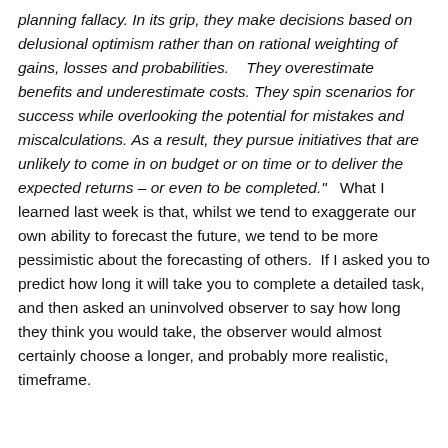planning fallacy. In its grip, they make decisions based on delusional optimism rather than on rational weighting of gains, losses and probabilities.   They overestimate benefits and underestimate costs. They spin scenarios for success while overlooking the potential for mistakes and miscalculations. As a result, they pursue initiatives that are unlikely to come in on budget or on time or to deliver the expected returns – or even to be completed."   What I learned last week is that, whilst we tend to exaggerate our own ability to forecast the future, we tend to be more pessimistic about the forecasting of others.  If I asked you to predict how long it will take you to complete a detailed task, and then asked an uninvolved observer to say how long they think you would take, the observer would almost certainly choose a longer, and probably more realistic, timeframe.